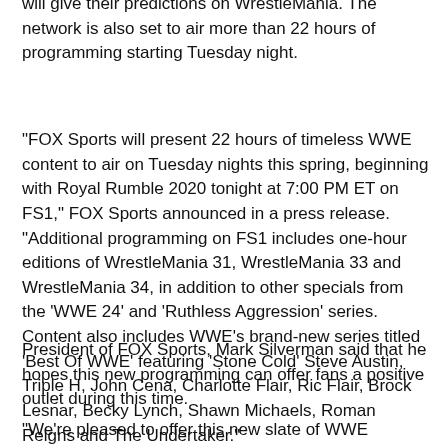will give their predictions on WrestleMania. The network is also set to air more than 22 hours of programming starting Tuesday night.
"FOX Sports will present 22 hours of timeless WWE content to air on Tuesday nights this spring, beginning with Royal Rumble 2020 tonight at 7:00 PM ET on FS1," FOX Sports announced in a press release. "Additional programming on FS1 includes one-hour editions of WrestleMania 31, WrestleMania 33 and WrestleMania 34, in addition to other specials from the 'WWE 24' and 'Ruthless Aggression' series. Content also includes WWE's brand-new series titled 'Best Of WWE' featuring 'Stone Cold' Steve Austin, Triple H, John Cena, Charlotte Flair, Ric Flair, Brock Lesnar, Becky Lynch, Shawn Michaels, Roman Reigns and The Undertaker."
President of FOX Sports, Mark Silverman said that he hopes this new programming can offer fans a positive outlet during this time.
"We're pleased to offer this new slate of WWE programming